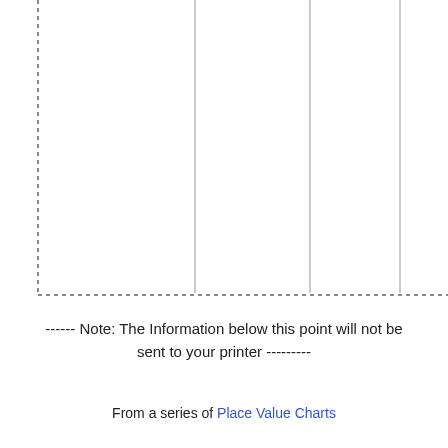[Figure (other): A blank place value chart with a dashed left border and bottom border forming an L-shape, and four vertical gray lines dividing the chart into columns. The chart is empty (no labels or data).]
------ Note: The Information below this point will not be sent to your printer ---------
From a series of Place Value Charts